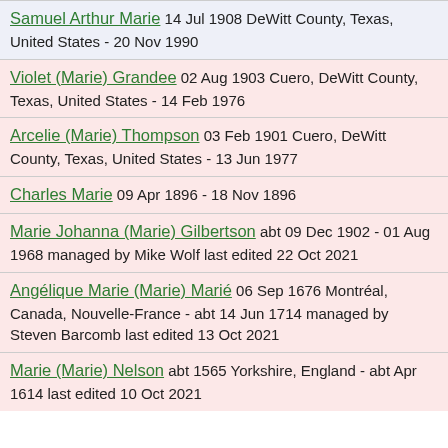Samuel Arthur Marie 14 Jul 1908 DeWitt County, Texas, United States - 20 Nov 1990
Violet (Marie) Grandee 02 Aug 1903 Cuero, DeWitt County, Texas, United States - 14 Feb 1976
Arcelie (Marie) Thompson 03 Feb 1901 Cuero, DeWitt County, Texas, United States - 13 Jun 1977
Charles Marie 09 Apr 1896 - 18 Nov 1896
Marie Johanna (Marie) Gilbertson abt 09 Dec 1902 - 01 Aug 1968 managed by Mike Wolf last edited 22 Oct 2021
Angélique Marie (Marie) Marié 06 Sep 1676 Montréal, Canada, Nouvelle-France - abt 14 Jun 1714 managed by Steven Barcomb last edited 13 Oct 2021
Marie (Marie) Nelson abt 1565 Yorkshire, England - abt Apr 1614 last edited 10 Oct 2021